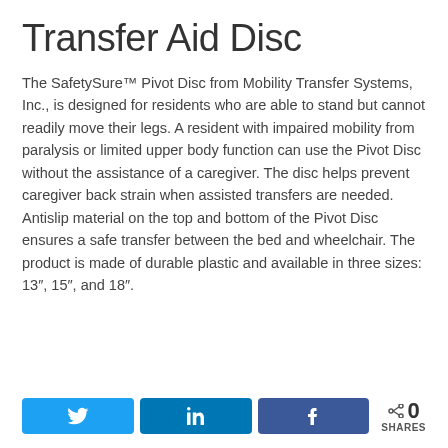Transfer Aid Disc
The SafetySure™ Pivot Disc from Mobility Transfer Systems, Inc., is designed for residents who are able to stand but cannot readily move their legs. A resident with impaired mobility from paralysis or limited upper body function can use the Pivot Disc without the assistance of a caregiver. The disc helps prevent caregiver back strain when assisted transfers are needed. Antislip material on the top and bottom of the Pivot Disc ensures a safe transfer between the bed and wheelchair. The product is made of durable plastic and available in three sizes: 13″, 15″, and 18″.